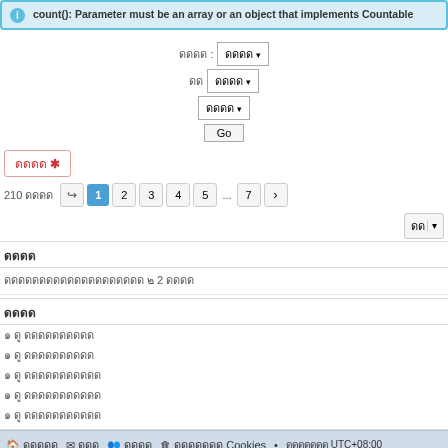count(): Parameter must be an array or an object that implements Countable
[Figure (screenshot): Filter controls with dropdown selectors and Go button]
ดูดดูด *
210 กระทู้  1 2 3 4 5 ... 7 >
[Figure (screenshot): Sort dropdown button]
ดูดดูด
ดูดดูดดูดดูดดูดดูดดูดดู ๒ 2 ดูดด
ดูดดูด
๑ ดู ดูดดูดดูดดูด
๑ ดู ดูดดูดดูดดูด
๑ ดู ดูดดูดดูดดูดด
๑ ดู ดูดดูดดูดดูดด
๑ ดู ดูดดูดดูดดูดด
🏠 ดูดดู  ✉ ดูด  👥 ดูดด  🗑 ดูดดูดดู Cookies • ดูดดูดดู UTC+08:00
Powered by phpBB® Forum Software © phpBB Limited  ดูดดูดด ดูดด ดูดด